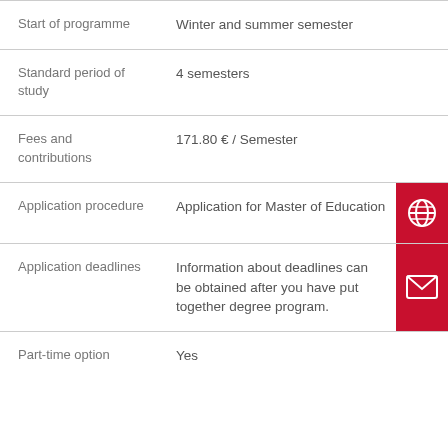| Start of programme | Winter and summer semester |  |
| Standard period of study | 4 semesters |  |
| Fees and contributions | 171.80 € / Semester |  |
| Application procedure | Application for Master of Education | globe-icon |
| Application deadlines | Information about deadlines can be obtained after you have put together degree program. | mail-icon |
| Part-time option | Yes |  |